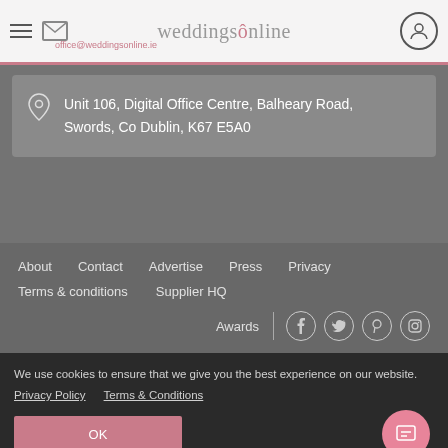weddingsonline
Unit 106, Digital Office Centre, Balheary Road, Swords, Co Dublin, K67 E5A0
About   Contact   Advertise   Press   Privacy
Terms & conditions   Supplier HQ
Awards
We use cookies to ensure that we give you the best experience on our website.
Privacy Policy   Terms & Conditions
OK